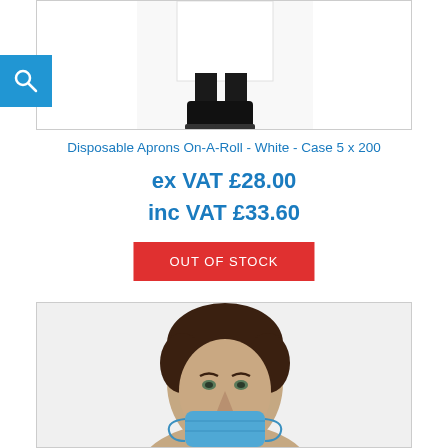[Figure (photo): Person wearing white apron and black boots/trousers, lower body visible, product image for disposable aprons]
Disposable Aprons On-A-Roll - White - Case 5 x 200
ex VAT £28.00
inc VAT £33.60
OUT OF STOCK
[Figure (photo): Male model wearing a blue face mask, head and shoulders visible, product image for face masks]